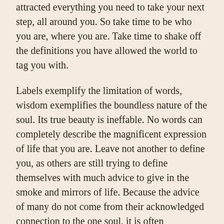attracted everything you need to take your next step, all around you. So take time to be who you are, where you are. Take time to shake off the definitions you have allowed the world to tag you with.
Labels exemplify the limitation of words, wisdom exemplifies the boundless nature of the soul. Its true beauty is ineffable. No words can completely describe the magnificent expression of life that you are. Leave not another to define you, as others are still trying to define themselves with much advice to give in the smoke and mirrors of life. Because the advice of many do not come from their acknowledged connection to the one soul, it is often misleading when it comes to helping another find purpose. Also, because we imagine that finding our path would be a difficult thing, the idea becomes a self fulfilling prophecy of dreams that seem to never walk close to us. However, it is we who refuse to walk next to them, due to a lack of silent peaceful